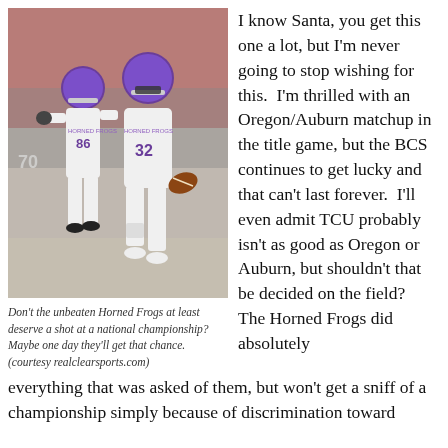[Figure (photo): Two TCU Horned Frogs football players in white uniforms with purple helmets, one wearing #86 and one wearing #32 carrying a football, celebrating on the field with a crowd in the background.]
Don't the unbeaten Horned Frogs at least deserve a shot at a national championship? Maybe one day they'll get that chance. (courtesy realclearsports.com)
I know Santa, you get this one a lot, but I'm never going to stop wishing for this.  I'm thrilled with an Oregon/Auburn matchup in the title game, but the BCS continues to get lucky and that can't last forever.  I'll even admit TCU probably isn't as good as Oregon or Auburn, but shouldn't that be decided on the field?  The Horned Frogs did absolutely everything that was asked of them, but won't get a sniff of a championship simply because of discrimination toward